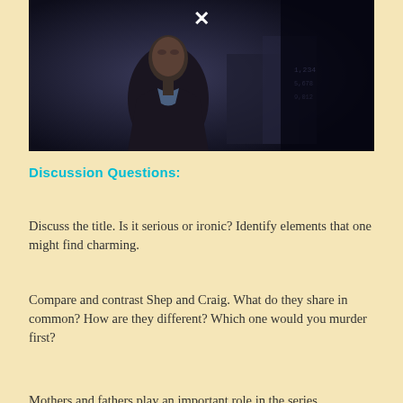[Figure (screenshot): Dark video thumbnail showing a man in a suit against a dark background, with a white X close button visible at the top center]
Discussion Questions:
Discuss the title.  Is it serious or ironic?  Identify elements that one might find charming.
Compare and contrast Shep and Craig.  What do they share in common?  How are they different? Which one would you murder first?
Mothers and fathers play an important role in the series.